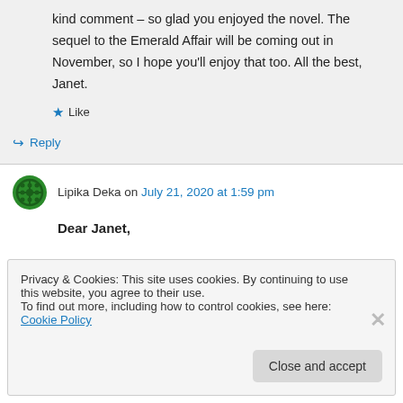kind comment – so glad you enjoyed the novel. The sequel to the Emerald Affair will be coming out in November, so I hope you'll enjoy that too. All the best, Janet.
★ Like
↪ Reply
Lipika Deka on July 21, 2020 at 1:59 pm
Dear Janet,
Privacy & Cookies: This site uses cookies. By continuing to use this website, you agree to their use.
To find out more, including how to control cookies, see here: Cookie Policy
Close and accept